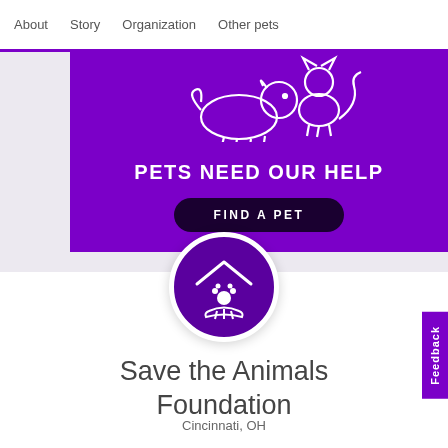About  Story  Organization  Other pets
[Figure (illustration): Purple promotional banner with white outline silhouettes of a dog and cat, bold text 'PETS NEED OUR HELP' and a dark button 'FIND A PET']
[Figure (logo): Circular purple logo with a house/roof outline, a paw print, and a hand underneath — Save the Animals Foundation logo]
Save the Animals Foundation
Cincinnati, OH